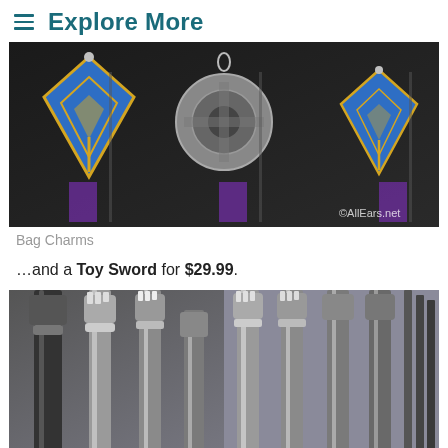Explore More
[Figure (photo): Display rack of blue and gold diamond-shaped bag charms with white triangle designs, shown in store. Watermark: ©AllEars.net]
Bag Charms
…and a Toy Sword for $29.99.
[Figure (photo): Multiple grey/silver toy swords with ornate handles bundled together in a store display bin, partially wrapped in plastic. A close button (×) is visible in the lower right.]